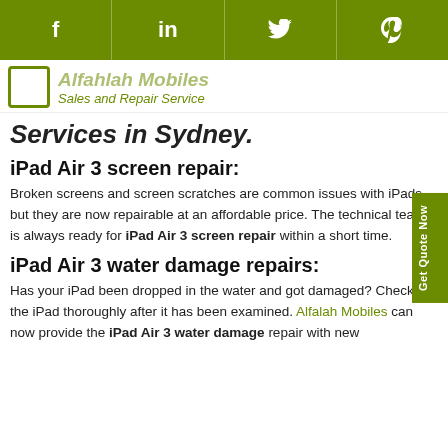f  in  (twitter)  (pinterest)
[Figure (logo): Alfahlah Mobiles Sales and Repair Service logo with green border box and italic green text]
Services in Sydney.
iPad Air 3 screen repair:
Broken screens and screen scratches are common issues with iPads, but they are now repairable at an affordable price. The technical team is always ready for iPad Air 3 screen repair within a short time.
iPad Air 3 water damage repairs:
Has your iPad been dropped in the water and got damaged? Check the iPad thoroughly after it has been examined. Alfalah Mobiles can now provide the iPad Air 3 water damage repair with new